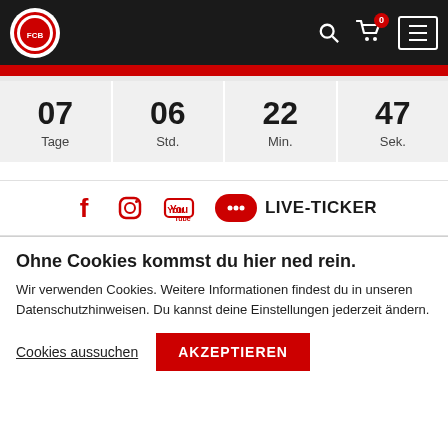[Figure (screenshot): Website header with dark background, club logo on left, search icon, cart with 0 badge, and hamburger menu on right]
[Figure (infographic): Countdown timer showing 07 Tage, 06 Std., 22 Min., 47 Sek.]
[Figure (infographic): Social media icons: Facebook, Instagram, YouTube, and LIVE-TICKER button]
Ohne Cookies kommst du hier ned rein.
Wir verwenden Cookies. Weitere Informationen findest du in unseren Datenschutzhinweisen. Du kannst deine Einstellungen jederzeit ändern.
Cookies aussuchen
AKZEPTIEREN